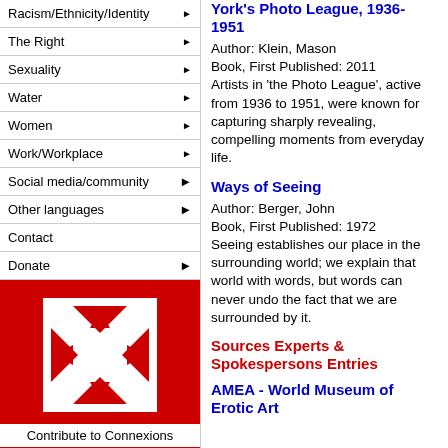Racism/Ethnicity/Identity ▶
The Right ▶
Sexuality ▶
Water ▶
Women ▶
Work/Workplace ▶
Social media/community ▶
Other languages ▶
Contact
Donate ▶
[Figure (logo): Connexions logo — red square with white X and arrows icon]
Contribute to Connexions
York's Photo League, 1936-1951
Author: Klein, Mason
Book, First Published: 2011
Artists in 'the Photo League', active from 1936 to 1951, were known for capturing sharply revealing, compelling moments from everyday life.
Ways of Seeing
Author: Berger, John
Book, First Published: 1972
Seeing establishes our place in the surrounding world; we explain that world with words, but words can never undo the fact that we are surrounded by it.
Sources Experts & Spokespersons Entries
AMEA - World Museum of Erotic Art